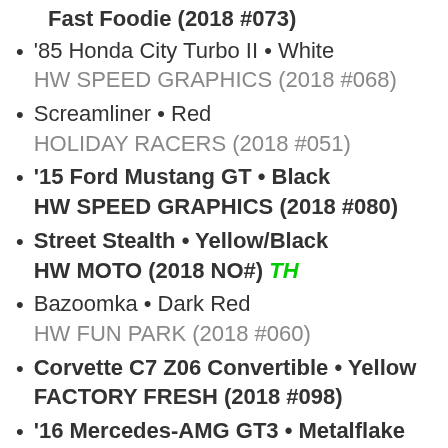Fast Foodie (2018 #073)
'85 Honda City Turbo II • White HW SPEED GRAPHICS (2018 #068)
Screamliner • Red HOLIDAY RACERS (2018 #051)
'15 Ford Mustang GT • Black HW SPEED GRAPHICS (2018 #080)
Street Stealth • Yellow/Black HW MOTO (2018 NO#) TH
Bazoomka • Dark Red HW FUN PARK (2018 #060)
Corvette C7 Z06 Convertible • Yellow FACTORY FRESH (2018 #098)
'16 Mercedes-AMG GT3 • Metalflake Gray
Advertisements